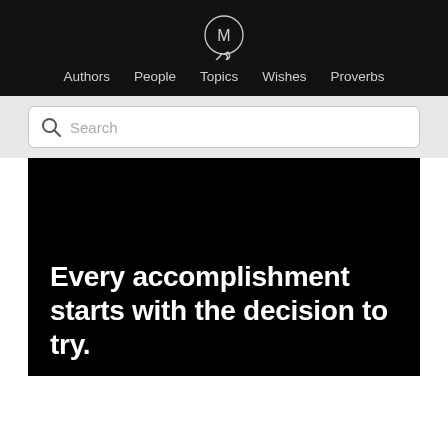M — Authors  People  Topics  Wishes  Proverbs
Search
Every accomplishment starts with the decision to try.